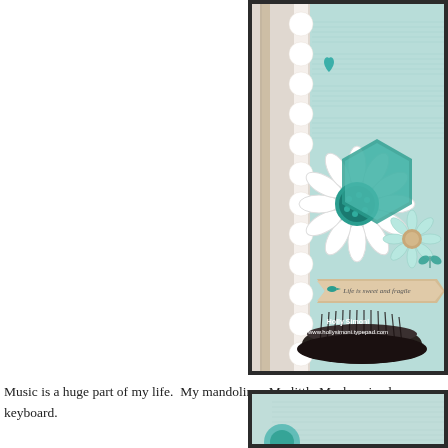[Figure (photo): Craft card with teal floral decorations, music sheet background paper, lace trim, and a banner reading 'Life is sweet and fragile'. Photo watermarked 'Holly Simoni www.hollysimoni.typepad.com'. A dark brush/pin cushion sits at the base.]
Music is a huge part of my life.  My mandolins.  My little Mackenzie pla keyboard.
[Figure (photo): Partial view of another craft card with teal flowers and music sheet background paper.]